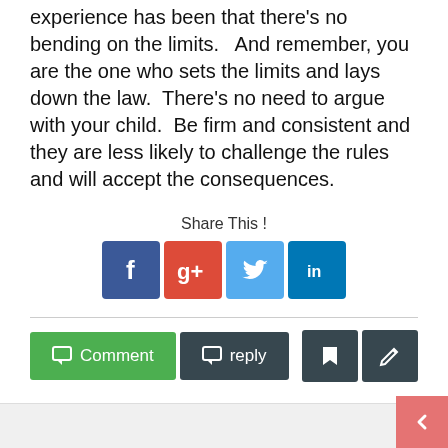experience has been that there's no bending on the limits.   And remember, you are the one who sets the limits and lays down the law.  There's no need to argue with your child.  Be firm and consistent and they are less likely to challenge the rules and will accept the consequences.
Share This !
[Figure (infographic): Social sharing buttons: Facebook (blue), Google+ (red), Twitter (light blue), LinkedIn (dark blue)]